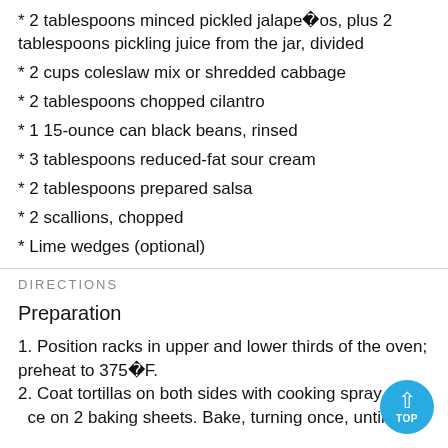* 2 tablespoons minced pickled jalapeños, plus 2 tablespoons pickling juice from the jar, divided
* 2 cups coleslaw mix or shredded cabbage
* 2 tablespoons chopped cilantro
* 1 15-ounce can black beans, rinsed
* 3 tablespoons reduced-fat sour cream
* 2 tablespoons prepared salsa
* 2 scallions, chopped
* Lime wedges (optional)
DIRECTIONS
Preparation
1. Position racks in upper and lower thirds of the oven; preheat to 375°F.
2. Coat tortillas on both sides with cooking spray. Pl… on 2 baking sheets. Bake, turning once, until light